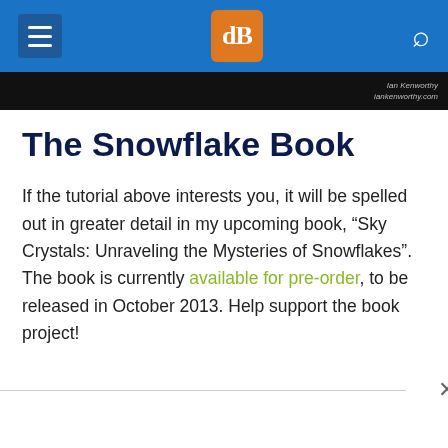dPS navigation bar
[Figure (screenshot): Dark image strip with handwritten signature text at top right]
The Snowflake Book
If the tutorial above interests you, it will be spelled out in greater detail in my upcoming book, “Sky Crystals: Unraveling the Mysteries of Snowflakes”. The book is currently available for pre-order, to be released in October 2013. Help support the book project!